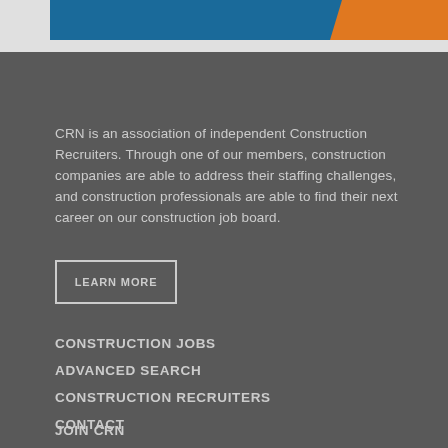[Figure (illustration): Top banner with blue and orange diagonal geometric shapes on a light grey background]
CRN is an association of independent Construction Recruiters. Through one of our members, construction companies are able to address their staffing challenges, and construction professionals are able to find their next career on our construction job board.
LEARN MORE
CONSTRUCTION JOBS
ADVANCED SEARCH
CONSTRUCTION RECRUITERS
CONTACT
JOIN CRN